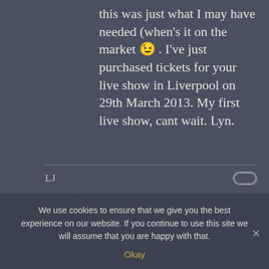this was just what I may have needed (when's it on the market 😉 . I've just purchased tickets for your live show in Liverpool on 29th March 2013. My first live show, cant wait. Lyn.
LJ
11 November 2012
We use cookies to ensure that we give you the best experience on our website. If you continue to use this site we will assume that you are happy with that.
Okay